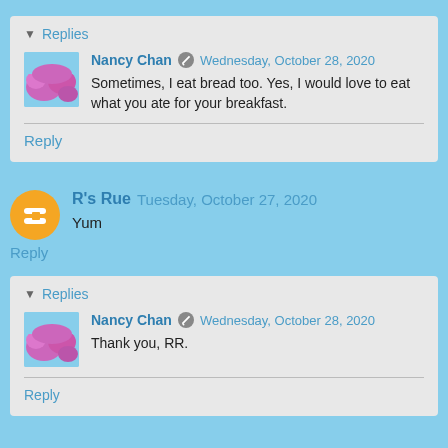▼ Replies
Nancy Chan · Wednesday, October 28, 2020
Sometimes, I eat bread too. Yes, I would love to eat what you ate for your breakfast.
Reply
R's Rue  Tuesday, October 27, 2020
Yum
Reply
▼ Replies
Nancy Chan · Wednesday, October 28, 2020
Thank you, RR.
Reply